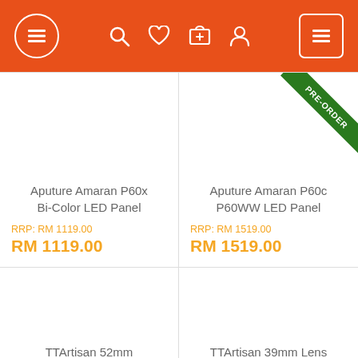Navigation header with menu, search, wishlist, cart, account and hamburger icons
Aputure Amaran P60x Bi-Color LED Panel
RRP: RM 1119.00
RM 1119.00
PRE-ORDER
Aputure Amaran P60c P60WW LED Panel
RRP: RM 1519.00
RM 1519.00
TTArtisan 52mm Aluminum Alloy Lens Hood
TTArtisan 39mm Lens Hood